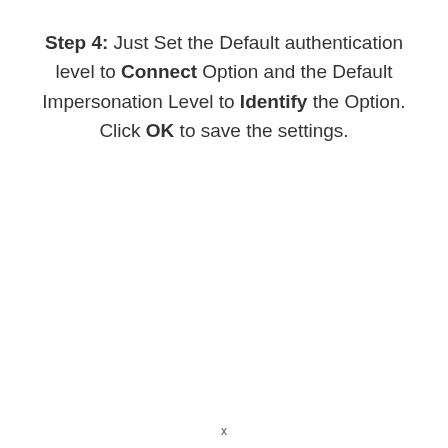Step 4: Just Set the Default authentication level to Connect Option and the Default Impersonation Level to Identify the Option. Click OK to save the settings.